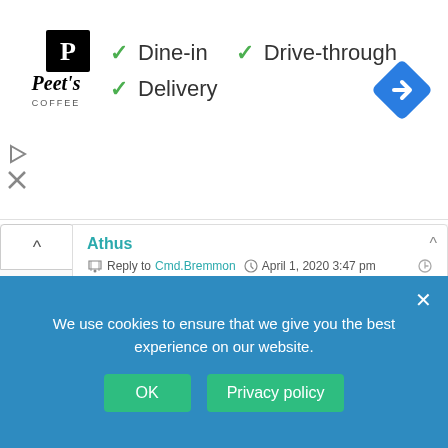[Figure (screenshot): Peet's Coffee ad banner showing Dine-in, Drive-through, Delivery options with green checkmarks and a blue navigation diamond icon]
Athus
Reply to Cmd.Bremmon • April 1, 2020 3:47 pm
You hate TNG, I think that some of the TNG cast rob you some money or something, lol..
Cmd.Bremmon
Reply to Athus • April 1, 2020 4:55 pm
Time is more valuable than money. Lol And I don't blame the cast. I blame 90s Roddenberry for trying to destroy his Roddenberry 60s/Justume legacy. The writers I assume just had to do with it, except for Voyager – I'd say they just tuned out after about season 3 to even watch that no foul for
We use cookies to ensure that we give you the best experience on our website.